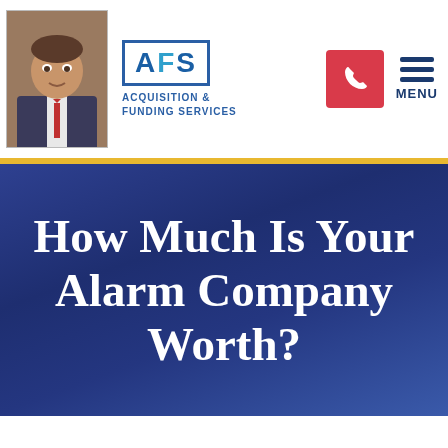[Figure (logo): AFS Acquisition & Funding Services logo with person photo, phone button, and hamburger menu]
How Much Is Your Alarm Company Worth?
[Figure (photo): White space / bottom of page strip]